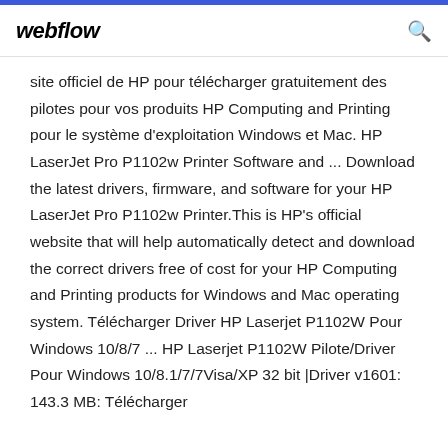webflow
site officiel de HP pour télécharger gratuitement des pilotes pour vos produits HP Computing and Printing pour le système d'exploitation Windows et Mac. HP LaserJet Pro P1102w Printer Software and ... Download the latest drivers, firmware, and software for your HP LaserJet Pro P1102w Printer.This is HP's official website that will help automatically detect and download the correct drivers free of cost for your HP Computing and Printing products for Windows and Mac operating system. Télécharger Driver HP Laserjet P1102W Pour Windows 10/8/7 ... HP Laserjet P1102W Pilote/Driver Pour Windows 10/8.1/7/7Visa/XP 32 bit |Driver v1601: 143.3 MB: Télécharger